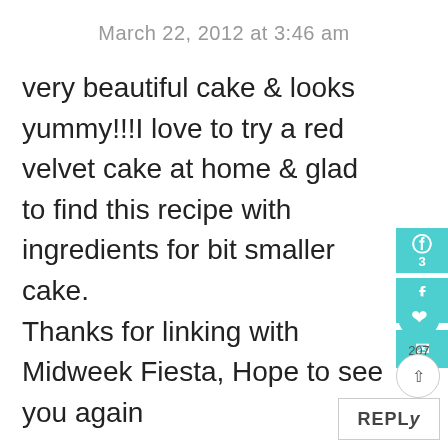March 22, 2012 at 3:46 am
very beautiful cake & looks yummy!!!I love to try a red velvet cake at home & glad to find this recipe with ingredients for bit smaller cake.
Thanks for linking with Midweek Fiesta, Hope to see you again